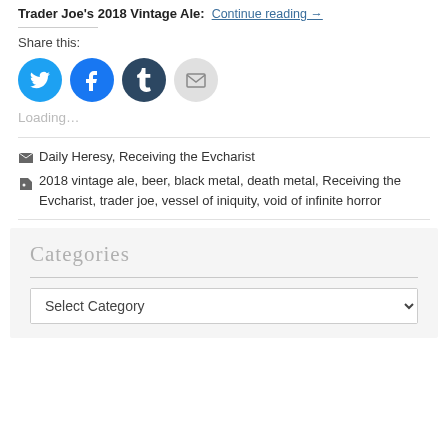Trader Joe's 2018 Vintage Ale: Continue reading →
Share this:
[Figure (illustration): Four social share icon buttons: Twitter (blue bird), Facebook (blue f), Tumblr (dark blue t), Email (grey envelope)]
Loading...
Daily Heresy, Receiving the Evcharist
2018 vintage ale, beer, black metal, death metal, Receiving the Evcharist, trader joe, vessel of iniquity, void of infinite horror
Categories
Select Category